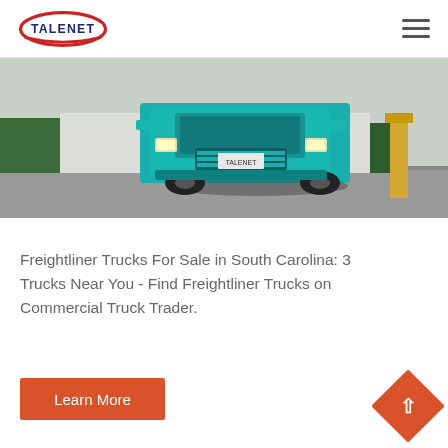[Figure (logo): Talenet company logo with red oval and blue text]
[Figure (photo): Front view of a teal/turquoise commercial truck driving in a yard or facility]
Freightliner Trucks For Sale in South Carolina: 3 Trucks Near You - Find Freightliner Trucks on Commercial Truck Trader.
Learn More